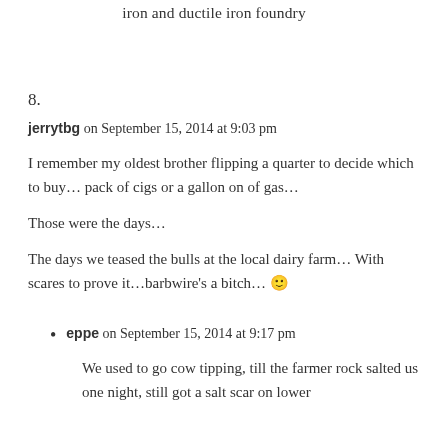iron and ductile iron foundry
8.
jerrytbg on September 15, 2014 at 9:03 pm
I remember my oldest brother flipping a quarter to decide which to buy… pack of cigs or a gallon on of gas…
Those were the days…
The days we teased the bulls at the local dairy farm… With scares to prove it…barbwire's a bitch… 🙂
eppe on September 15, 2014 at 9:17 pm
We used to go cow tipping, till the farmer rock salted us one night, still got a salt scar on lower